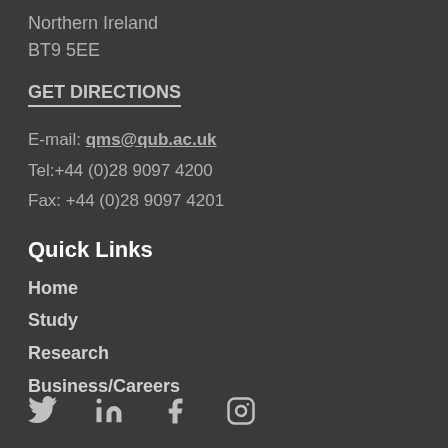Northern Ireland
BT9 5EE
GET DIRECTIONS
E-mail: qms@qub.ac.uk
Tel:+44 (0)28 9097 4200
Fax: +44 (0)28 9097 4201
Quick Links
Home
Study
Research
Business/Careers
[Figure (other): Social media icons: Twitter, LinkedIn, Facebook, Instagram]